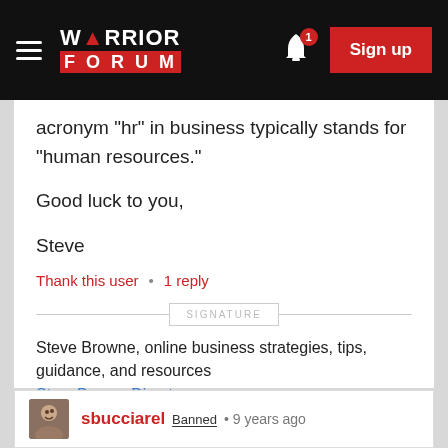[Figure (screenshot): Warrior Forum navigation bar with hamburger menu, logo, bell notification icon with badge '1', and red Sign up button]
acronym "hr" in business typically stands for "human resources."
Good luck to you,
Steve
Thank this user  •  1 reply
Steve Browne, online business strategies, tips, guidance, and resources
SteveBrowneDirect
sbucciarel  Banned  •  9 years ago